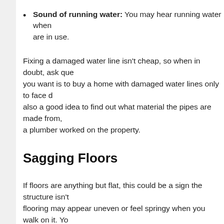Sound of running water: You may hear running water when are in use.
Fixing a damaged water line isn't cheap, so when in doubt, ask que you want is to buy a home with damaged water lines only to face d also a good idea to find out what material the pipes are made from, a plumber worked on the property.
Sagging Floors
If floors are anything but flat, this could be a sign the structure isn't flooring may appear uneven or feel springy when you walk on it. Yo between the flooring and the baseboards. Spotting this is vital, as a dangerous!
Odd Smells